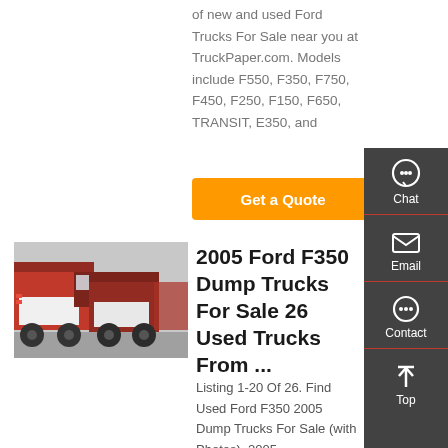of new and used Ford Trucks For Sale near you at TruckPaper.com. Models include F550, F350, F750, F450, F250, F150, F650, TRANSIT, E350, and
[Figure (other): Orange 'Get a Quote' button]
[Figure (photo): Red dump trucks parked in a lot, viewed from the side]
2005 Ford F350 Dump Trucks For Sale 26 Used Trucks From ...
Listing 1-20 Of 26. Find Used Ford F350 2005 Dump Trucks For Sale (with Photos). 2005